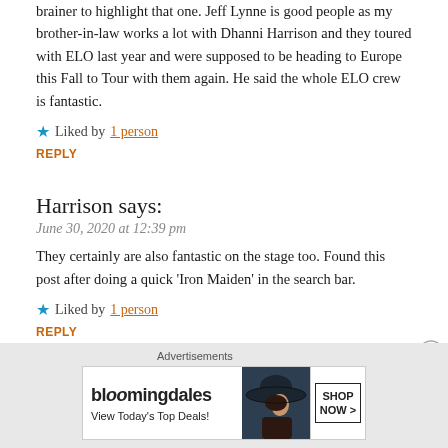brainer to highlight that one. Jeff Lynne is good people as my brother-in-law works a lot with Dhanni Harrison and they toured with ELO last year and were supposed to be heading to Europe this Fall to Tour with them again. He said the whole ELO crew is fantastic.
★ Liked by 1 person
REPLY
Harrison says:
June 30, 2020 at 12:39 pm
They certainly are also fantastic on the stage too. Found this post after doing a quick 'Iron Maiden' in the search bar.
★ Liked by 1 person
REPLY
[Figure (other): Bloomingdales advertisement banner with 'View Today's Top Deals!' and 'SHOP NOW >' button, showing a woman in a wide-brim hat]